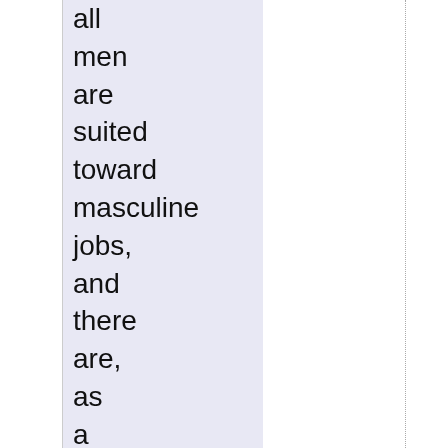all men are suited toward masculine jobs, and there are, as a matter of everyday fact, women who are more masculine by their nature than